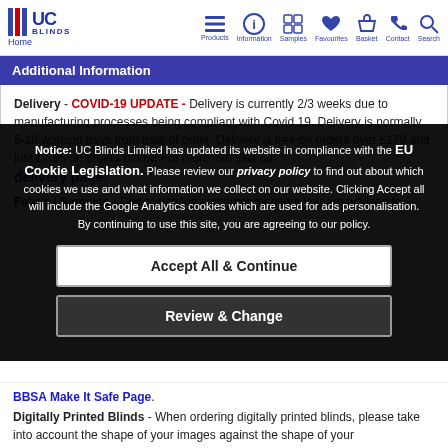UC Blinds — Navigation bar with logo and icons: Products, Information, Samples, Favourites, Basket, Contact, Search
Additional Information
Delivery - COVID-19 UPDATE - Delivery is currently 2/3 weeks due to manufacturing processes being compliant with Covid 19. Delivery is normally 5-10 working days from date of order. Delivery is free on orders over £179 and just £7.95 on orders below. For more info visit our delivery page.
Fabric / Samples - Due to varying computer monitors you are advised to
Notice: UC Blinds Limited has updated its website in compliance with the EU Cookie Legislation. Please review our privacy policy to find out about which cookies we use and what information we collect on our website. Clicking Accept all will include the Google Analytics cookies which are used for ads personalisation. By continuing to use this site, you are agreeing to our policy.
Accept All & Continue
Review & Change
BBSA Make It Safe Page.
Digitally Printed Blinds - When ordering digitally printed blinds, please take into account the shape of your images against the shape of your